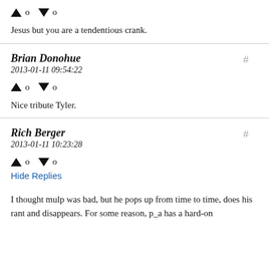↑ 0 ↓ 0
Jesus but you are a tendentious crank.
Brian Donohue
2013-01-11 09:54:22
↑ 0 ↓ 0
Nice tribute Tyler.
Rich Berger
2013-01-11 10:23:28
↑ 0 ↓ 0
Hide Replies
I thought mulp was bad, but he pops up from time to time, does his rant and disappears. For some reason, p_a has a hard-on